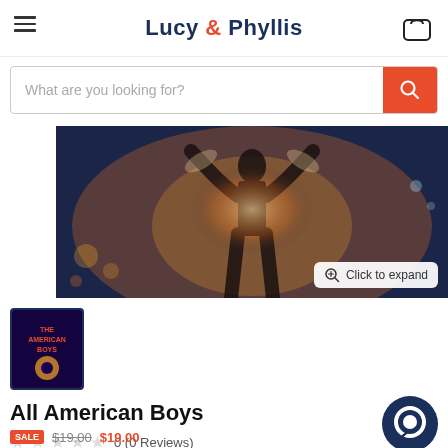Lucy & Phyllis
What are you looking for?
[Figure (photo): Book cover photo showing silhouette of person with arms raised against dramatic backlit background]
[Figure (photo): Thumbnail of All American Boys book cover]
All American Boys
0 (0 Reviews)
$19.00  $19.00